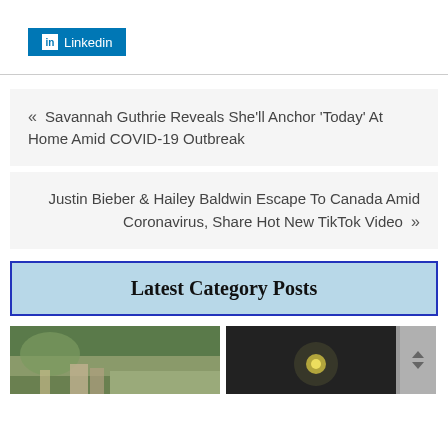[Figure (logo): LinkedIn share button with 'in' icon and text 'Linkedin' on blue background]
« Savannah Guthrie Reveals She'll Anchor 'Today' At Home Amid COVID-19 Outbreak
Justin Bieber & Hailey Baldwin Escape To Canada Amid Coronavirus, Share Hot New TikTok Video »
Latest Category Posts
[Figure (photo): Two thumbnail images side by side: left shows an outdoor scene with people, right shows a dark scene with a glowing element]